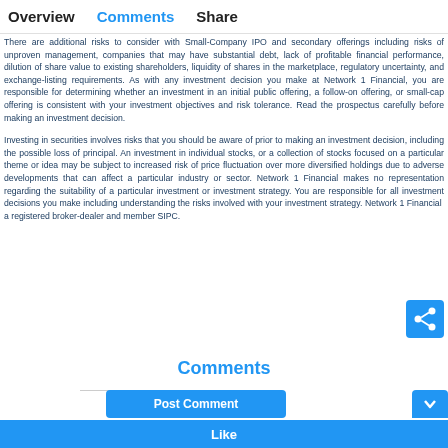Overview   Comments   Share
There are additional risks to consider with Small-Company IPO and secondary offerings including risks of unproven management, companies that may have substantial debt, lack of profitable financial performance, dilution of share value to existing shareholders, liquidity of shares in the marketplace, regulatory uncertainty, and exchange-listing requirements. As with any investment decision you make at Network 1 Financial, you are responsible for determining whether an investment in an initial public offering, a follow-on offering, or small-cap offering is consistent with your investment objectives and risk tolerance. Read the prospectus carefully before making an investment decision.
Investing in securities involves risks that you should be aware of prior to making an investment decision, including the possible loss of principal. An investment in individual stocks, or a collection of stocks focused on a particular theme or idea may be subject to increased risk of price fluctuation over more diversified holdings due to adverse developments that can affect a particular industry or sector. Network 1 Financial makes no representation regarding the suitability of a particular investment or investment strategy. You are responsible for all investment decisions you make including understanding the risks involved with your investment strategy. Network 1 Financial a registered broker-dealer and member SIPC.
[Figure (other): Blue share/network icon button in top right area]
Comments
Post Comment
Like